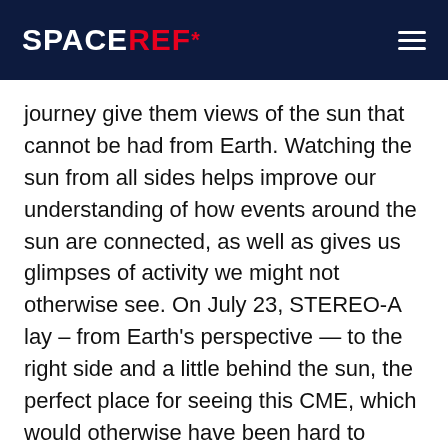SPACEREF*
journey give them views of the sun that cannot be had from Earth. Watching the sun from all sides helps improve our understanding of how events around the sun are connected, as well as gives us glimpses of activity we might not otherwise see. On July 23, STEREO-A lay – from Earth's perspective — to the right side and a little behind the sun, the perfect place for seeing this CME, which would otherwise have been hard to measure from Earth. The Solar Heliospheric Observatory (SOHO), an ESA and NASA mission, also observed the CME. It is the